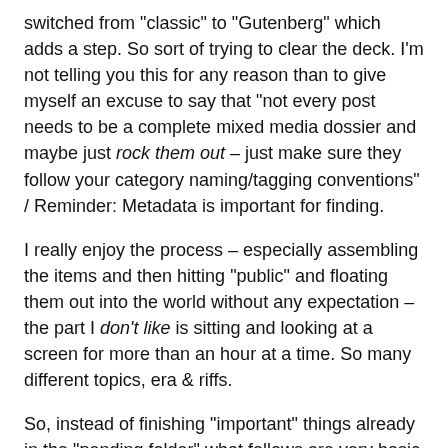switched from "classic" to "Gutenberg" which adds a step. So sort of trying to clear the deck. I'm not telling you this for any reason than to give myself an excuse to say that "not every post needs to be a complete mixed media dossier and maybe just rock them out – just make sure they follow your category naming/tagging conventions" / Reminder: Metadata is important for finding.
I really enjoy the process – especially assembling the items and then hitting "public" and floating them out into the world without any expectation – the part I don't like is sitting and looking at a screen for more than an hour at a time. So many different topics, era & riffs.
So, instead of finishing "important" things already in the "pending folder" what follows are very basic things, photos included for no particular purpose except for my improbable, albeit somewhat inconsequential, documentation of the "usual days".